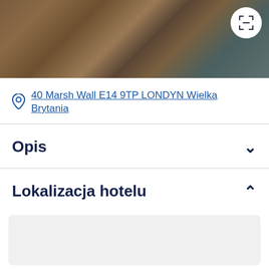[Figure (photo): Hotel interior lounge area with wooden table, chairs, and decorative items]
40 Marsh Wall E14 9TP LONDYN Wielka Brytania
Opis
Lokalizacja hotelu
[Figure (map): Map placeholder showing hotel location]
Sprawdź ceny